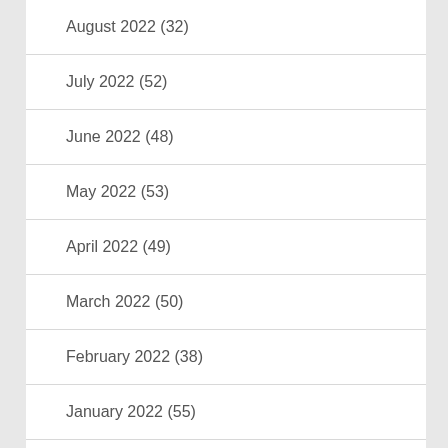August 2022 (32)
July 2022 (52)
June 2022 (48)
May 2022 (53)
April 2022 (49)
March 2022 (50)
February 2022 (38)
January 2022 (55)
December 2021 (48)